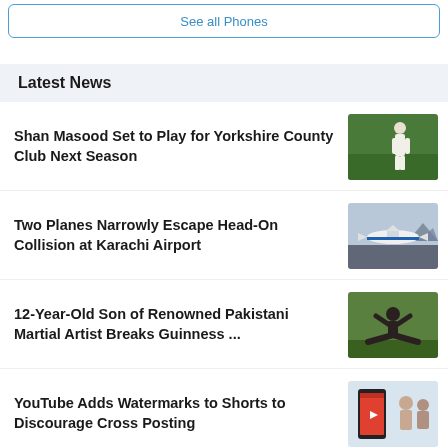See all Phones
Latest News
Shan Masood Set to Play for Yorkshire County Club Next Season
Two Planes Narrowly Escape Head-On Collision at Karachi Airport
12-Year-Old Son of Renowned Pakistani Martial Artist Breaks Guinness ...
YouTube Adds Watermarks to Shorts to Discourage Cross Posting